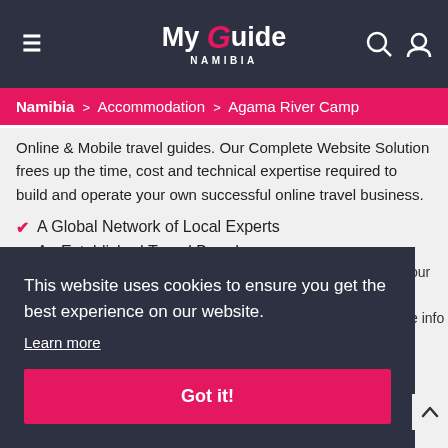My Guide NAMIBIA
Namibia > Accommodation > Agama River Camp
Online & Mobile travel guides. Our Complete Website Solution frees up the time, cost and technical expertise required to build and operate your own successful online travel business.
A Global Network of Local Experts
An Established Travel Brand
Cutting Edge Technology (partially visible)
This website uses cookies to ensure you get the best experience on our website.
Learn more
Got it!